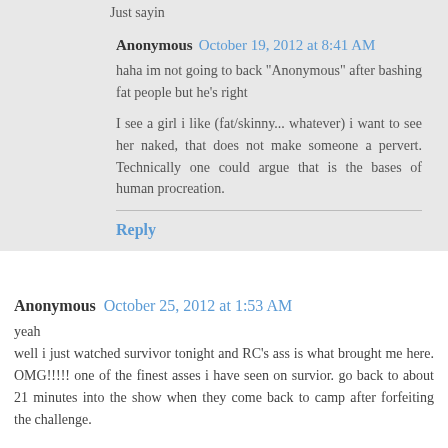Just sayin
Anonymous  October 19, 2012 at 8:41 AM
haha im not going to back "Anonymous" after bashing fat people but he's right
I see a girl i like (fat/skinny... whatever) i want to see her naked, that does not make someone a pervert. Technically one could argue that is the bases of human procreation.
Reply
Anonymous  October 25, 2012 at 1:53 AM
yeah
well i just watched survivor tonight and RC's ass is what brought me here. OMG!!!!! one of the finest asses i have seen on survior. go back to about 21 minutes into the show when they come back to camp after forfeiting the challenge.